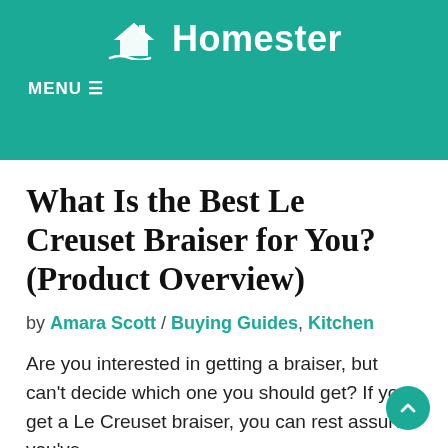Homester
What Is the Best Le Creuset Braiser for You? (Product Overview)
by Amara Scott / Buying Guides, Kitchen
Are you interested in getting a braiser, but can't decide which one you should get? If you get a Le Creuset braiser, you can rest assured you've